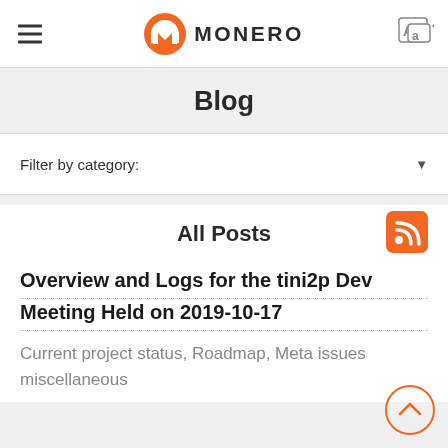≡  MONERO
Blog
Filter by category:
All Posts
Overview and Logs for the tini2p Dev Meeting Held on 2019-10-17
Current project status, Roadmap, Meta issues miscellaneous